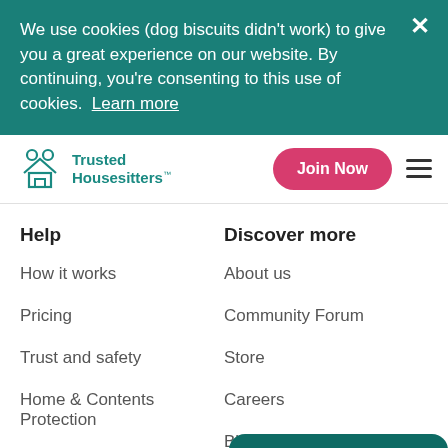We use cookies (dog biscuits didn't work) to give you a great experience on our website. By continuing, you're consenting to this use of cookies. Learn more
[Figure (logo): Trusted Housesitters logo with icon showing people and a house]
Join Now
Help
Discover more
How it works
About us
Pricing
Community Forum
Trust and safety
Store
Home & Contents Protection
Careers
Blog
Help desk
Help